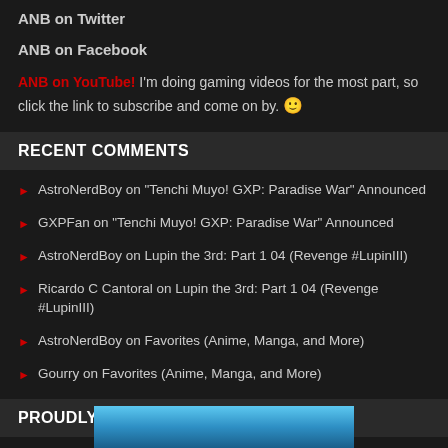ANB on Twitter
ANB on Facebook
ANB on YouTube! I'm doing gaming videos for the most part, so click the link to subscribe and come on by. 🙂
RECENT COMMENTS
AstroNerdBoy on "Tenchi Muyo! GXP: Paradise War" Announced
GXPFan on "Tenchi Muyo! GXP: Paradise War" Announced
AstroNerdBoy on Lupin the 3rd: Part 1 04 (Revenge #LupinIII)
Ricardo C Cantoral on Lupin the 3rd: Part 1 04 (Revenge #LupinIII)
AstroNerdBoy on Favorites (Anime, Manga, and More)
Gourry on Favorites (Anime, Manga, and More)
PROUDLY HOSTED BY KNOWN HOST!
[Figure (photo): Blue gradient banner image at bottom of page]